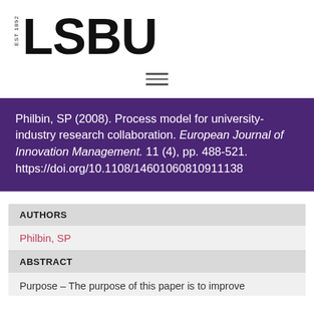[Figure (logo): LSBU university logo with 'EST 1892' text and large bold 'LSBU' wordmark]
[Figure (other): Hamburger menu icon with three horizontal lines]
Philbin, SP (2008). Process model for university-industry research collaboration. European Journal of Innovation Management. 11 (4), pp. 488-521. https://doi.org/10.1108/14601060810911138
AUTHORS
Philbin, SP
ABSTRACT
Purpose – The purpose of this paper is to improve